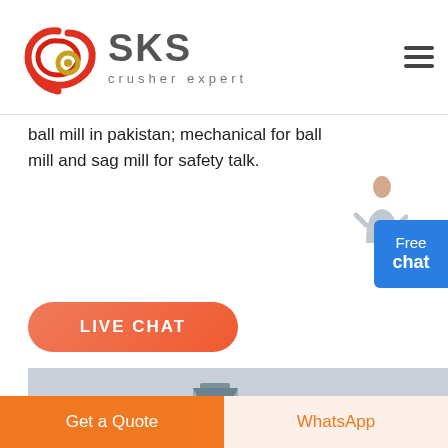[Figure (logo): SKS Crusher Expert logo with stylized red circular icon and grey SKS text with 'crusher expert' tagline]
ball mill in pakistan; mechanical for ball mill and sag mill for safety talk.
[Figure (illustration): Person standing next to a Free chat button]
[Figure (photo): Industrial crusher/conveyor facility photograph showing large metal structures and conveyor belts]
LIVE CHAT
Get a Quote
WhatsApp